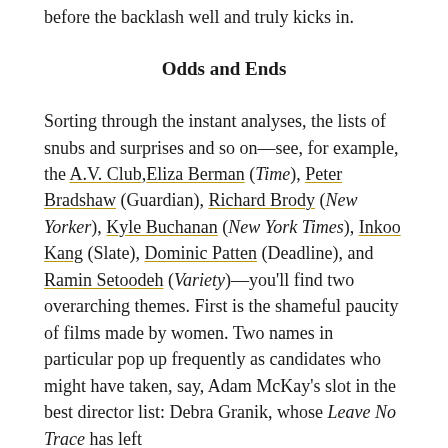before the backlash well and truly kicks in.
Odds and Ends
Sorting through the instant analyses, the lists of snubs and surprises and so on—see, for example, the A.V. Club, Eliza Berman (Time), Peter Bradshaw (Guardian), Richard Brody (New Yorker), Kyle Buchanan (New York Times), Inkoo Kang (Slate), Dominic Patten (Deadline), and Ramin Setoodeh (Variety)—you'll find two overarching themes. First is the shameful paucity of films made by women. Two names in particular pop up frequently as candidates who might have taken, say, Adam McKay's slot in the best director list: Debra Granik, whose Leave No Trace has left